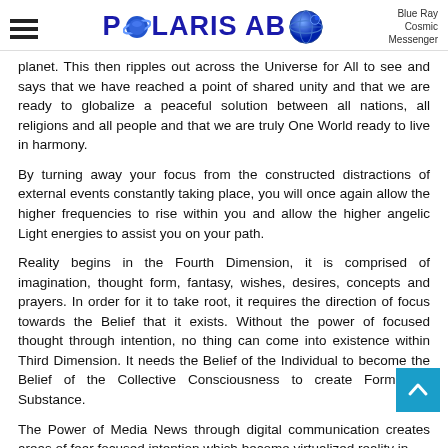POLARIS AB — Blue Ray Cosmic Messenger
planet. This then ripples out across the Universe for All to see and says that we have reached a point of shared unity and that we are ready to globalize a peaceful solution between all nations, all religions and all people and that we are truly One World ready to live in harmony.
By turning away your focus from the constructed distractions of external events constantly taking place, you will once again allow the higher frequencies to rise within you and allow the higher angelic Light energies to assist you on your path.
Reality begins in the Fourth Dimension, it is comprised of imagination, thought form, fantasy, wishes, desires, concepts and prayers. In order for it to take root, it requires the direction of focus towards the Belief that it exists. Without the power of focused thought through intention, no thing can come into existence within Third Dimension. It needs the Belief of the Individual to become the Belief of the Collective Consciousness to create Form and Substance.
The Power of Media News through digital communication creates areas of fear focused intention which become virtualized reality in